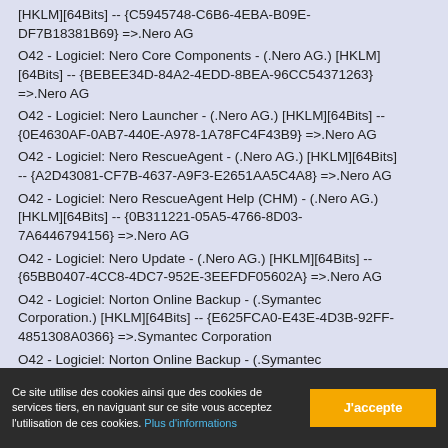[HKLM][64Bits] -- {C5945748-C6B6-4EBA-B09E-DF7B18381B69} =>.Nero AG
O42 - Logiciel: Nero Core Components - (.Nero AG.) [HKLM][64Bits] -- {BEBEE34D-84A2-4EDD-8BEA-96CC54371263} =>.Nero AG
O42 - Logiciel: Nero Launcher - (.Nero AG.) [HKLM][64Bits] -- {0E4630AF-0AB7-440E-A978-1A78FC4F43B9} =>.Nero AG
O42 - Logiciel: Nero RescueAgent - (.Nero AG.) [HKLM][64Bits] -- {A2D43081-CF7B-4637-A9F3-E2651AA5C4A8} =>.Nero AG
O42 - Logiciel: Nero RescueAgent Help (CHM) - (.Nero AG.) [HKLM][64Bits] -- {0B311221-05A5-4766-8D03-7A6446794156} =>.Nero AG
O42 - Logiciel: Nero Update - (.Nero AG.) [HKLM][64Bits] -- {65BB0407-4CC8-4DC7-952E-3EEFDF05602A} =>.Nero AG
O42 - Logiciel: Norton Online Backup - (.Symantec Corporation.) [HKLM][64Bits] -- {E625FCA0-E43E-4D3B-92FF-4851308A0366} =>.Symantec Corporation
O42 - Logiciel: Norton Online Backup - (.Symantec Corporation.) [HKLM][64Bits] -- NARA =>.Symantec Corporation®
Ce site utilise des cookies ainsi que des cookies de services tiers, en naviguant sur ce site vous acceptez l'utilisation de ces cookies. Plus d'informations